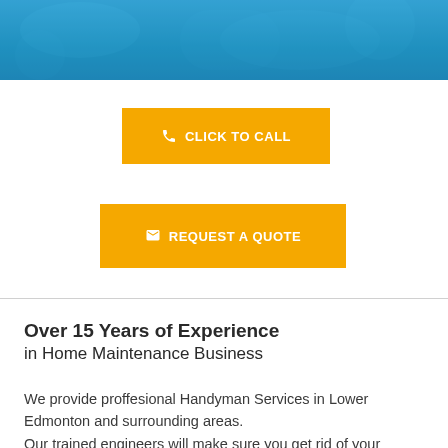[Figure (photo): Blue banner header at top of page with overlaid tools/mechanical imagery in faded tone]
CLICK TO CALL
REQUEST A QUOTE
Over 15 Years of Experience in Home Maintenance Business
We provide proffesional Handyman Services in Lower Edmonton and surrounding areas. Our trained engineers will make sure you get rid of your problems permanently.